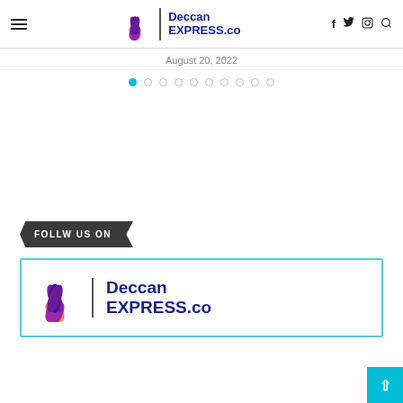Deccan EXPRESS.co — navigation header with logo, hamburger menu, and social icons (f, twitter, instagram, search)
August 20, 2022
[Figure (other): Pagination dots row: 10 dots, first one filled teal, rest hollow gray]
FOLLW US ON
[Figure (logo): Deccan EXPRESS.co logo card with lotus flower icon, inside a light blue border box]